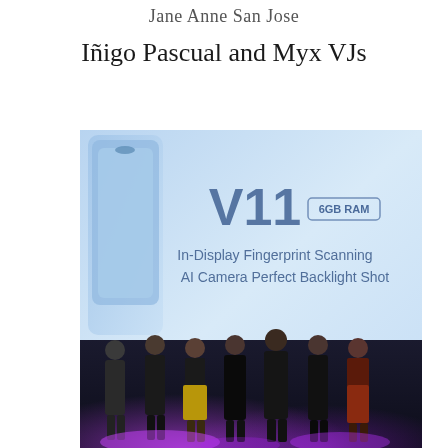Jane Anne San Jose
Iñigo Pascual and Myx VJs
[Figure (photo): Event photo showing Iñigo Pascual and Myx VJs on stage in front of a Vivo V11 6GB RAM promotional banner displaying 'In-Display Fingerprint Scanning, AI Camera Perfect Backlight Shot'. Several women in stylish outfits stand on stage with one man in a dark turtleneck.]